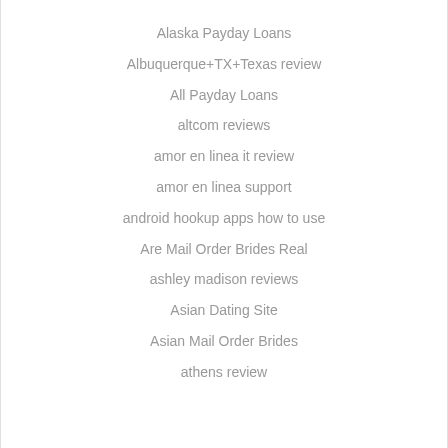Alaska Payday Loans
Albuquerque+TX+Texas review
All Payday Loans
altcom reviews
amor en linea it review
amor en linea support
android hookup apps how to use
Are Mail Order Brides Real
ashley madison reviews
Asian Dating Site
Asian Mail Order Brides
athens review